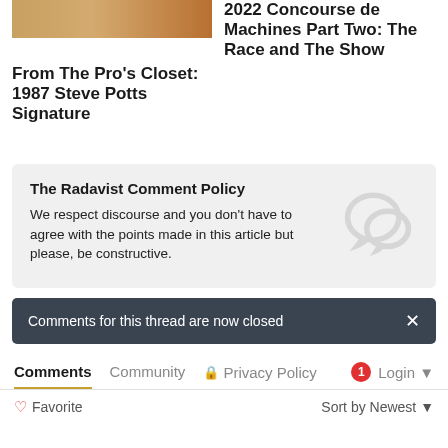[Figure (photo): Cropped photo strip showing a bicycle or related object in warm brown/orange tones]
From The Pro's Closet: 1987 Steve Potts Signature
2022 Concourse de Machines Part Two: The Race and The Show
The Radavist Comment Policy
We respect discourse and you don't have to agree with the points made in this article but please, be constructive.
Comments for this thread are now closed
Comments   Community   Privacy Policy   Login
Favorite   Sort by Newest